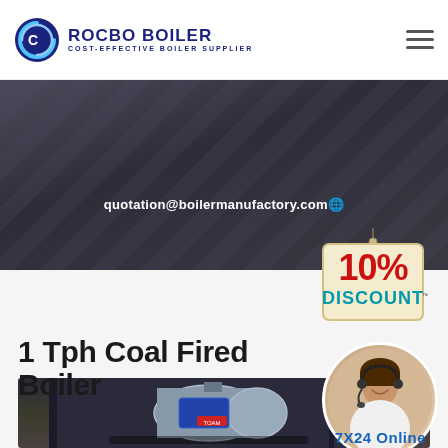[Figure (logo): Rocbo Boiler logo with circular C icon and text ROCBO BOILER, COST-EFFECTIVE BOILER SUPPLIER]
[Figure (photo): Dark industrial hero banner with diagonal texture lines]
quotation@boilermanufactory.com
[Figure (illustration): 10% DISCOUNT badge hanging sign in cream/red/teal colors]
1 Tph Coal Fired Boiler
[Figure (photo): Industrial coal fired boiler in factory setting]
[Figure (photo): Customer service representative with headset, circular portrait]
7X24 Online